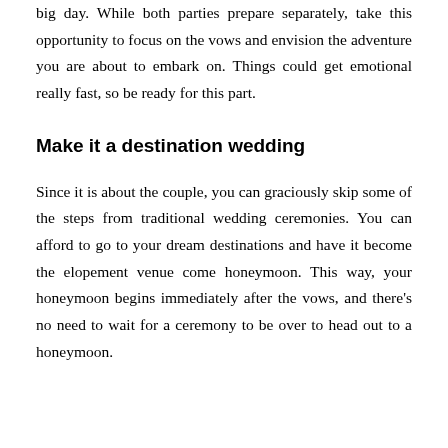big day. While both parties prepare separately, take this opportunity to focus on the vows and envision the adventure you are about to embark on. Things could get emotional really fast, so be ready for this part.
Make it a destination wedding
Since it is about the couple, you can graciously skip some of the steps from traditional wedding ceremonies. You can afford to go to your dream destinations and have it become the elopement venue come honeymoon. This way, your honeymoon begins immediately after the vows, and there's no need to wait for a ceremony to be over to head out to a honeymoon.